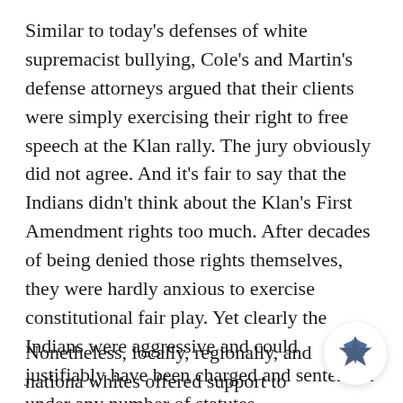Similar to today's defenses of white supremacist bullying, Cole's and Martin's defense attorneys argued that their clients were simply exercising their right to free speech at the Klan rally. The jury obviously did not agree. And it's fair to say that the Indians didn't think about the Klan's First Amendment rights too much. After decades of being denied those rights themselves, they were hardly anxious to exercise constitutional fair play. Yet clearly the Indians were aggressive and could justifiably have been charged and sentenced under any number of statutes.
Nonetheless, locally, regionally, and nationally whites offered support to the Lumbees, even
[Figure (illustration): A blue/navy star-shaped icon inside a white circular badge with shadow, positioned in bottom-right corner]